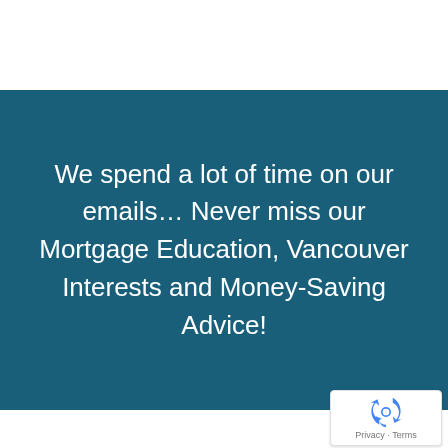We spend a lot of time on our emails… Never miss our Mortgage Education, Vancouver Interests and Money-Saving Advice!
[Figure (logo): reCAPTCHA badge with recycling-arrow logo icon, Privacy and Terms links]